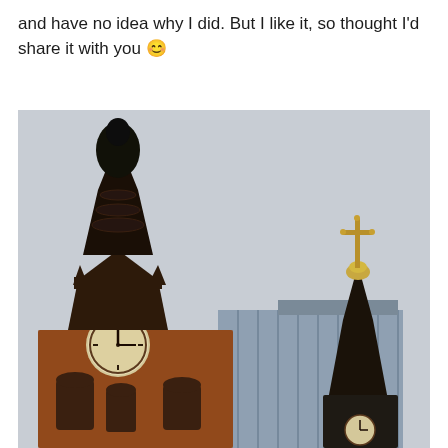and have no idea why I did. But I like it, so thought I'd share it with you 😊
[Figure (photo): Photograph of two historic church/clock towers against a grey sky. On the left is a large Victorian red-brick clock tower with an ornate dark spire and clock face. On the right is a slender dark pointed steeple topped with a cross. In the background is a modern glass and concrete building.]